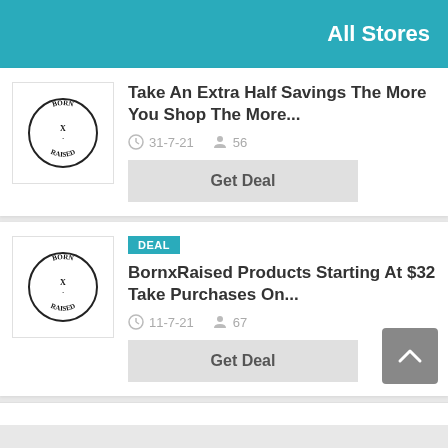All Stores
[Figure (logo): BornxRaised circular logo with gothic text]
Take An Extra Half Savings The More You Shop The More...
31-7-21   56
Get Deal
DEAL
[Figure (logo): BornxRaised circular logo with gothic text]
BornxRaised Products Starting At $32 Take Purchases On...
11-7-21   67
Get Deal